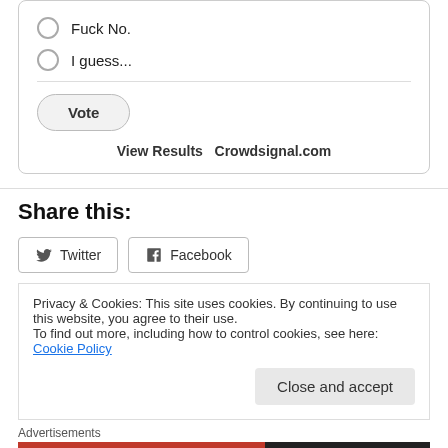Fuck No.
I guess...
Vote
View Results   Crowdsignal.com
Share this:
Twitter
Facebook
Privacy & Cookies: This site uses cookies. By continuing to use this website, you agree to their use.
To find out more, including how to control cookies, see here: Cookie Policy
Close and accept
Advertisements